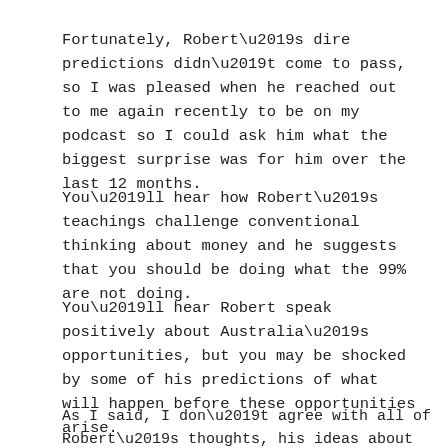Fortunately, Robert’s dire predictions didn’t come to pass, so I was pleased when he reached out to me again recently to be on my podcast so I could ask him what the biggest surprise was for him over the last 12 months.
You’ll hear how Robert’s teachings challenge conventional thinking about money and he suggests that you should be doing what the 99% are not doing.
You’ll hear Robert speak positively about Australia’s opportunities, but you may be shocked by some of his predictions of what will happen before these opportunities arise.
As I said, I don’t agree with all of Robert’s thoughts, his ideas about real estate, and his forecasts for what’s ahead for the economy, but rather than debating him, I gave him the airtime he deserved, and